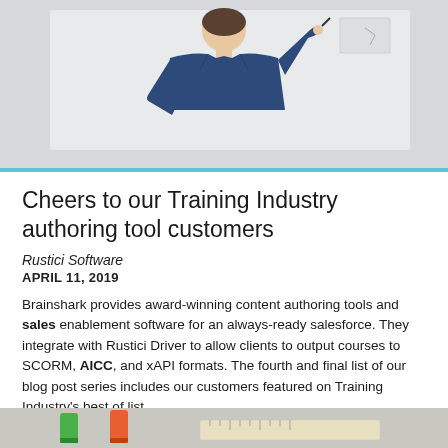[Figure (photo): Photo of a person from behind writing on a whiteboard, wearing a dark blue t-shirt]
Cheers to our Training Industry authoring tool customers
Rustici Software
APRIL 11, 2019
Brainshark provides award-winning content authoring tools and sales enablement software for an always-ready salesforce. They integrate with Rustici Driver to allow clients to output courses to SCORM, AICC, and xAPI formats. The fourth and final list of our blog post series includes our customers featured on Training Industry's best of list.
Software
40
[Figure (photo): Partial photo of colored markers and a ruler on a desk]